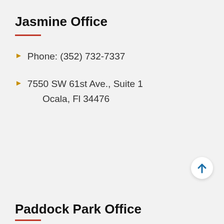Jasmine Office
Phone: (352) 732-7337
7550 SW 61st Ave., Suite 1
Ocala, Fl 34476
Paddock Park Office